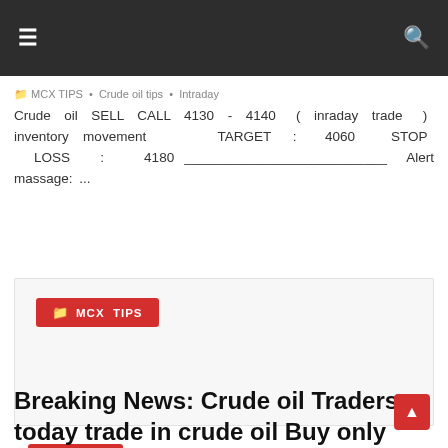≡  [navigation bar]  🔍
Crude oil SELL CALL 4130 - 4140 ( inraday trade ) inventory movement TARGET : 4060 STOP LOSS : 4180 ___________________________ Alert massage: ...
Read more →
[Figure (other): Card container with MCX TIPS category tag in red]
Breaking News: Crude oil Traders today trade in crude oil Buy only